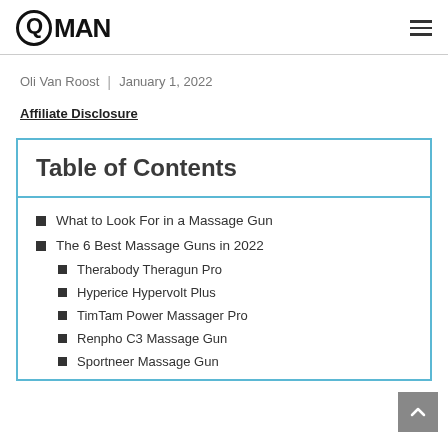QMAN
Oli Van Roost | January 1, 2022
Affiliate Disclosure
Table of Contents
What to Look For in a Massage Gun
The 6 Best Massage Guns in 2022
Therabody Theragun Pro
Hyperice Hypervolt Plus
TimTam Power Massager Pro
Renpho C3 Massage Gun
Sportneer Massage Gun